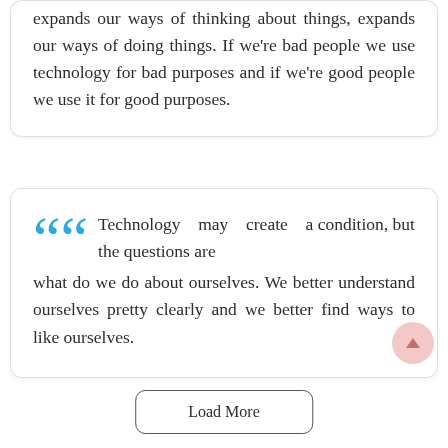expands our ways of thinking about things, expands our ways of doing things. If we're bad people we use technology for bad purposes and if we're good people we use it for good purposes.
Technology may create a condition, but the questions are what do we do about ourselves. We better understand ourselves pretty clearly and we better find ways to like ourselves.
Load More